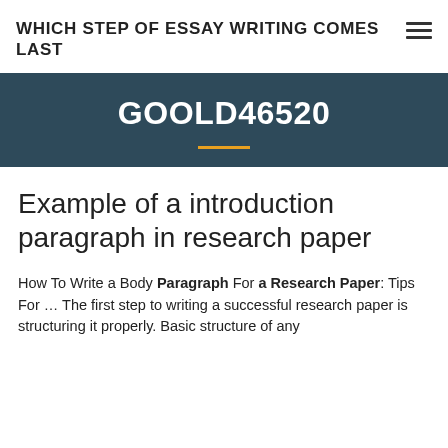WHICH STEP OF ESSAY WRITING COMES LAST
GOOLD46520
Example of a introduction paragraph in research paper
How To Write a Body Paragraph For a Research Paper: Tips For … The first step to writing a successful research paper is structuring it properly. Basic structure of any